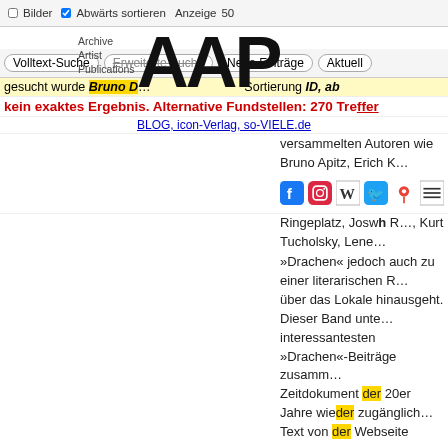Bilder | Abwärts sortieren | Anzeige 50
[Figure (logo): AAP Archive Artist Publications logo with large bold AAP text and smaller stacked text 'Archive Artist Publications']
Volltext-Suche | Erweiterte Suche | Neue Einträge | Aktuell
gesucht wurde Bruno D... Sortierung ID, ab
kein exaktes Ergebnis. Alternative Fundstellen: 270 Treffer
BLOG, icon-Verlag, so-VIELE.de
versammelten Autoren wie Bruno Apitz, Erich K... Ringeplatz, Joswh R..., Kurt Tucholsky, Lene...
»Drachen« jedoch auch zu einer literarischen R... über das Lokale hinausgeht. Dieser Band unte... interessantesten »Drachen«-Beiträge zusamm... Zeitdokument der 20er Jahre wieder zugänglich Text von der Webseite
Weitere Personen: Erich Kästner / Erich Weinert / Fritz Hampel / H... Reimann / Hans Reimann (Text) / Jan Altenbur... Kurt Tucholsky / Lene Voigt / Max Herrmann-N... Mehring
Stichwort / Schlagwort: 1910er / 1920er / 2000er / Gesellschaft / Kritik... Witz
erworben bei: Connewitzer Verlagsbuchhandlung
TitelNummer: 004478177, Permalink, Zugang vor 2001, 🖊